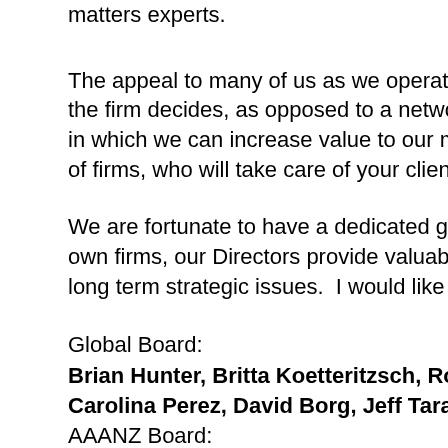matters experts.
The appeal to many of us as we operate as entrepreneurs i the firm decides, as opposed to a network which may requir in which we can increase value to our members and their cl of firms, who will take care of your client in the same manne
We are fortunate to have a dedicated group of both regiona own firms, our Directors provide valuable time to our organi long term strategic issues.  I would like to welcome and app
Global Board:
Brian Hunter, Britta Koetteritzsch, Roby Almog, Bill Sim Carolina Perez, David Borg, Jeff Taraboulos, Tito Scibet
AAANZ Board:
Bill Sims, Brian Hunter, Don DeGrazia, Carolina Perez, D Stephen Radachi, Matt Hatfield, Jim Ketter, Scott Keen,